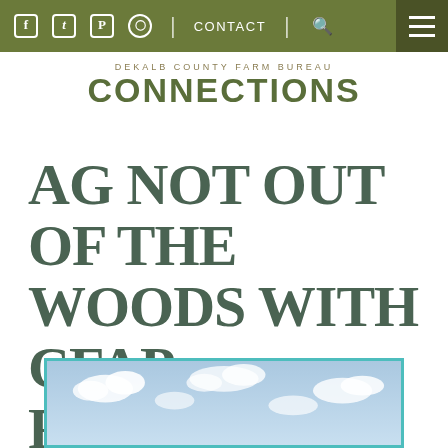Facebook Twitter Pinterest Instagram | CONTACT | Search | Menu
DEKALB COUNTY FARM BUREAU CONNECTIONS
AG NOT OUT OF THE WOODS WITH CFAP FUNDING
[Figure (photo): Sky with clouds, partial view of a landscape/farm scene]